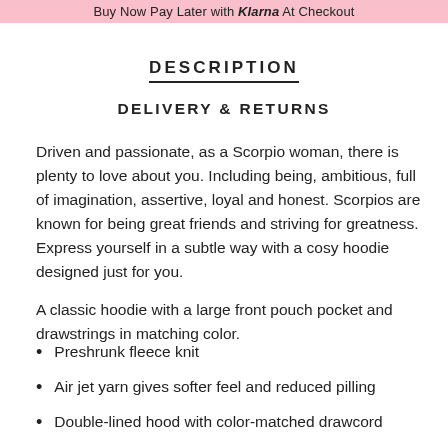Buy Now Pay Later with Klarna At Checkout
DESCRIPTION
DELIVERY & RETURNS
Driven and passionate, as a Scorpio woman, there is plenty to love about you. Including being, ambitious, full of imagination, assertive, loyal and honest. Scorpios are known for being great friends and striving for greatness. Express yourself in a subtle way with a cosy hoodie designed just for you.
A classic hoodie with a large front pouch pocket and drawstrings in matching color.
Preshrunk fleece knit
Air jet yarn gives softer feel and reduced pilling
Double-lined hood with color-matched drawcord